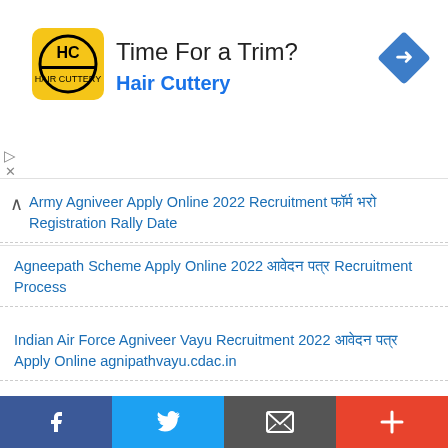[Figure (other): Advertisement banner for Hair Cuttery with logo, 'Time For a Trim?' heading, and navigation icon]
Army Agniveer Apply Online 2022 Recruitment फॉर्म भरो Registration Rally Date
Agneepath Scheme Apply Online 2022 आवेदन पत्र Recruitment Process
Indian Air Force Agniveer Vayu Recruitment 2022 आवेदन पत्र Apply Online agnipathvayu.cdac.in
ISAM Recruitment 2022 Apply Online [ 5012 Post ] Notification
FCI Recruitment 2022 Vacancy Notification & Apply Online Application Form